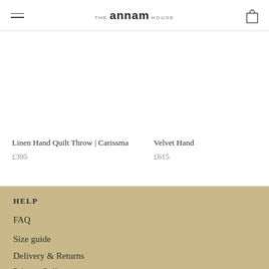THE annam HOUSE
Linen Hand Quilt Throw | Carissma
£395
Velvet Hand
£615
HELP
FAQ
Size guide
Delivery & Returns
Privacy Policy